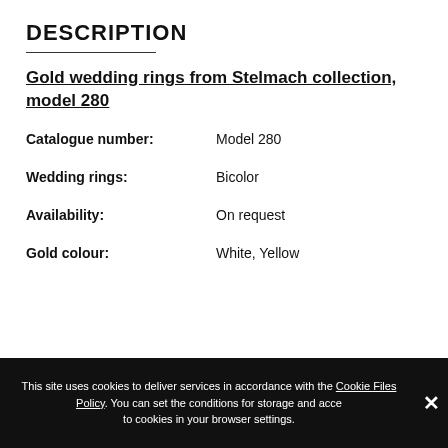DESCRIPTION
Gold wedding rings from Stelmach collection, model 280
Catalogue number: Model 280
Wedding rings: Bicolor
Availability: On request
Gold colour: White, Yellow
This site uses cookies to deliver services in accordance with the Cookie Files Policy. You can set the conditions for storage and access to cookies in your browser settings.